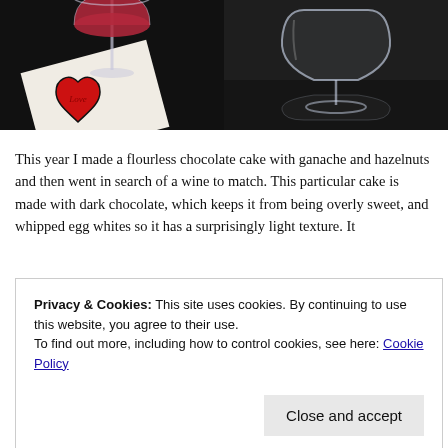[Figure (photo): Two side-by-side photos: left shows a wine glass with red liquid on a white napkin with a red heart logo on a dark background; right shows an empty clear wine glass on a dark reflective surface.]
This year I made a flourless chocolate cake with ganache and hazelnuts and then went in search of a wine to match. This particular cake is made with dark chocolate, which keeps it from being overly sweet, and whipped egg whites so it has a surprisingly light texture. It
Privacy & Cookies: This site uses cookies. By continuing to use this website, you agree to their use.
To find out more, including how to control cookies, see here: Cookie Policy
Close and accept
goo people tucked in amongst the garrigue (wild scrub) and schist-